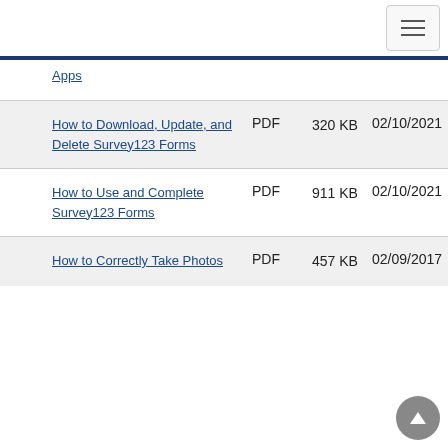Apps
| Name | Type | Size | Date |
| --- | --- | --- | --- |
| How to Download, Update, and Delete Survey123 Forms | PDF | 320 KB | 02/10/2021 |
| How to Use and Complete Survey123 Forms | PDF | 911 KB | 02/10/2021 |
| How to Correctly Take Photos | PDF | 457 KB | 02/09/2017 |